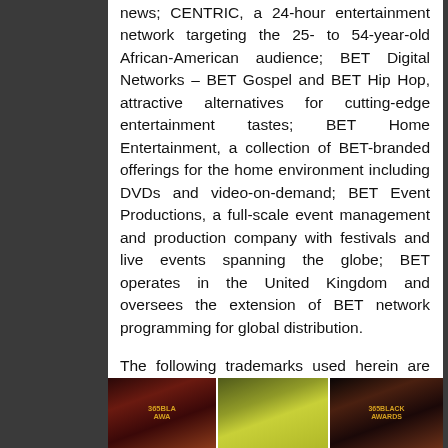news; CENTRIC, a 24-hour entertainment network targeting the 25- to 54-year-old African-American audience; BET Digital Networks – BET Gospel and BET Hip Hop, attractive alternatives for cutting-edge entertainment tastes; BET Home Entertainment, a collection of BET-branded offerings for the home environment including DVDs and video-on-demand; BET Event Productions, a full-scale event management and production company with festivals and live events spanning the globe; BET operates in the United Kingdom and oversees the extension of BET network programming for global distribution.
The following trademarks used herein are owned by McDonald's Corporation and its affiliates: 365Black, McCafe and McDonald's. ©2014 McDonald's
[Figure (photo): Three photos side by side from 365Black Awards event: left photo shows award signage/person, center photo shows woman in yellow dress, right photo shows 365Black Awards signage/person]